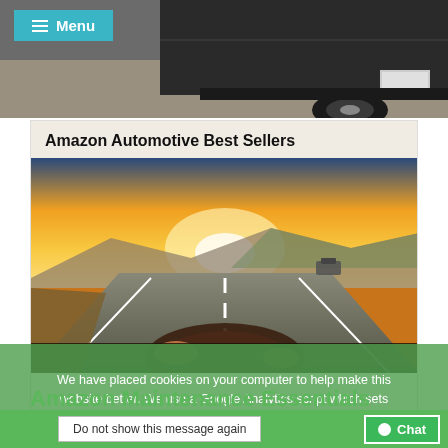[Figure (photo): Top portion of a dark vehicle/truck on a road, with a teal menu button overlay in top left corner]
[Figure (photo): Amazon Automotive Best Sellers card showing a driver's perspective from inside a car on a highway at sunset, with hands on steering wheel]
We have placed cookies on your computer to help make this website better. We use a Google Analytics script which sets cookies. More details can be found in our privacy policy.
Do not show this message again
Chat
Amazon Maintenance Essentials